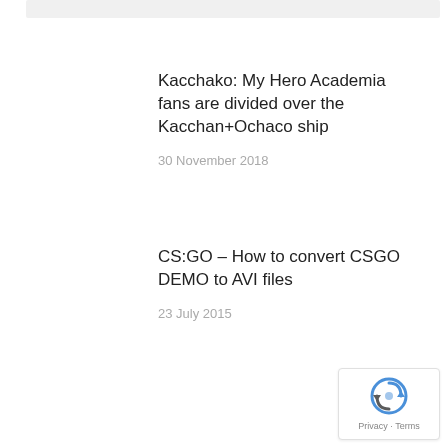Kacchako: My Hero Academia fans are divided over the Kacchan+Ochaco ship
30 November 2018
CS:GO – How to convert CSGO DEMO to AVI files
23 July 2015
[Figure (logo): reCAPTCHA badge with spinning arrow logo and Privacy · Terms text]